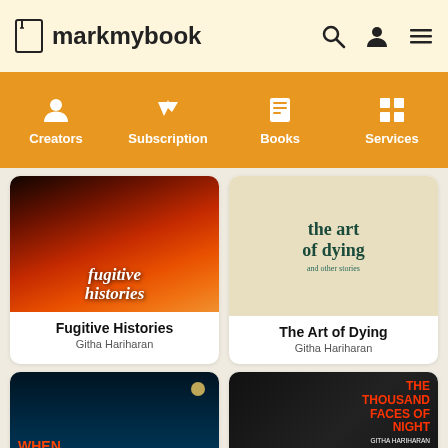markmybook
[Figure (screenshot): Navigation bar with icons for Creators, Subscription, Books, Services on orange background]
[Figure (illustration): Book cover: Fugitive Histories by Githa Hariharan]
Fugitive Histories
Githa Hariharan
[Figure (illustration): Book cover: The Art of Dying and other stories by Githa Hariharan]
The Art of Dying
Githa Hariharan
[Figure (illustration): Book cover: When Dreams Travel by Githa Hariharan]
[Figure (illustration): Book cover: The Thousand Faces of Night by Githa Hariharan]